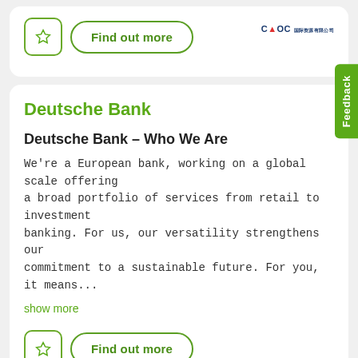[Figure (logo): CMOC company logo with Chinese characters]
[Figure (logo): Favourite/bookmark button and Find out more button (top card)]
Deutsche Bank
Deutsche Bank – Who We Are
We're a European bank, working on a global scale offering a broad portfolio of services from retail to investment banking. For us, our versatility strengthens our commitment to a sustainable future. For you, it means...
show more
[Figure (logo): Revolution logo mark (stylized P/R in green)]
[Figure (other): Favourite/bookmark button and Find out more button (bottom card)]
[Figure (other): Scroll-to-top button (green circle with up arrow)]